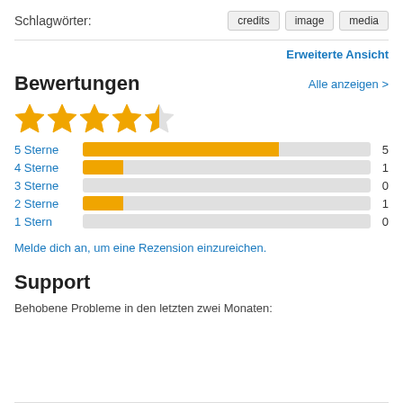Schlagwörter:
credits  image  media
Erweiterte Ansicht
Bewertungen
Alle anzeigen >
[Figure (other): 4.5 out of 5 stars rating: 4 filled gold stars and 1 half-filled gold star]
[Figure (bar-chart): Ratings breakdown]
Melde dich an, um eine Rezension einzureichen.
Support
Behobene Probleme in den letzten zwei Monaten: